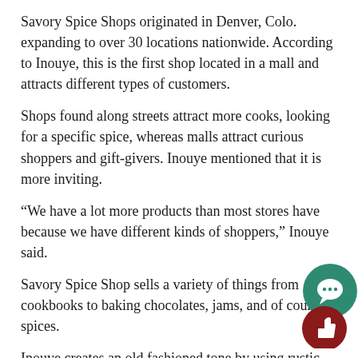Savory Spice Shops originated in Denver, Colo. expanding to over 30 locations nationwide. According to Inouye, this is the first shop located in a mall and attracts different types of customers.
Shops found along streets attract more cooks, looking for a specific spice, whereas malls attract curious shoppers and gift-givers. Inouye mentioned that it is more inviting.
“We have a lot more products than most stores have because we have different kinds of shoppers,” Inouye said.
Savory Spice Shop sells a variety of things from cookbooks to baking chocolates, jams, and of course, spices.
Inouye creates an old fashioned tone by using rustic decor, as she describes, taking you back to your roots.
Depending on the customer, Inouye has different recommendations for different taste pallets. She suggests the Bohemian Forest European Seasoning, one of the most popular in the shop, which is a rosemary blend.
[Figure (illustration): Two circular icon buttons overlapping in bottom-right corner: a teal/green circle with a speech bubble chat icon, and a dark red/maroon circle with a thumbs-up icon.]